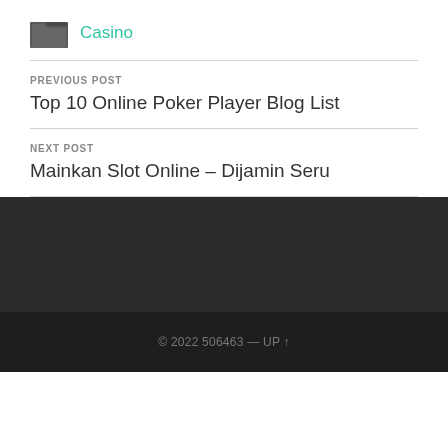Casino
PREVIOUS POST
Top 10 Online Poker Player Blog List
NEXT POST
Mainkan Slot Online – Dijamin Seru
© 2022 506463 — UP ↑